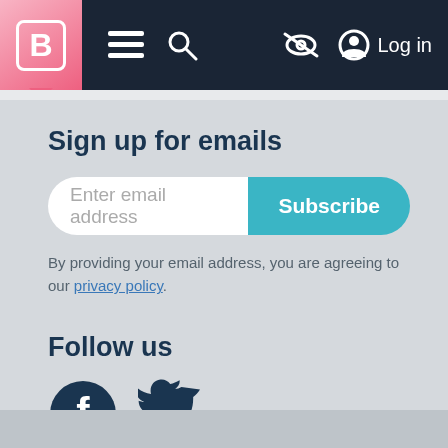Navigation bar with logo B, hamburger menu, search icon, eye-slash icon, and Log in
Sign up for emails
Enter email address | Subscribe
By providing your email address, you are agreeing to our privacy policy.
Follow us
[Figure (illustration): Facebook and Twitter social media icons]